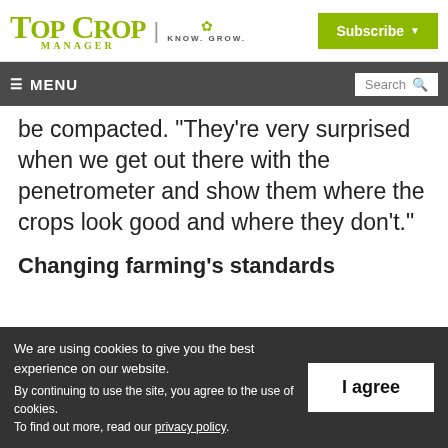TOP CROP MANAGER | KNOW. GROW. | Subscribe
≡ MENU | Search
be compacted. "They're very surprised when we get out there with the penetrometer and show them where the crops look good and where they don't."
Changing farming's standards
We are using cookies to give you the best experience on our website. By continuing to use the site, you agree to the use of cookies. To find out more, read our privacy policy.